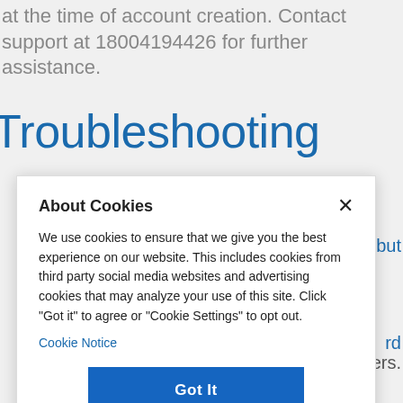at the time of account creation. Contact support at 18004194426 for further assistance.
Troubleshooting
[Figure (screenshot): Cookie consent dialog overlay with title 'About Cookies', body text about cookie usage, a 'Cookie Notice' link, a 'Got It' button, and a 'Cookies Settings' link.]